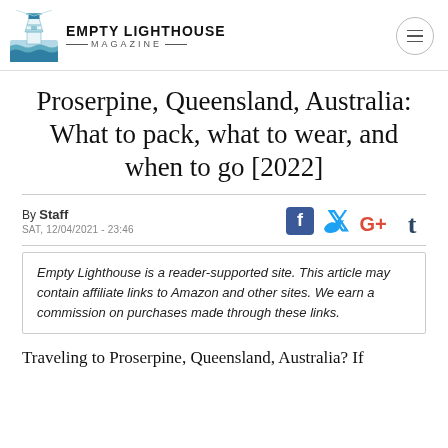EMPTY LIGHTHOUSE MAGAZINE
Proserpine, Queensland, Australia: What to pack, what to wear, and when to go [2022]
By Staff
SAT, 12/04/2021 - 23:46
Empty Lighthouse is a reader-supported site. This article may contain affiliate links to Amazon and other sites. We earn a commission on purchases made through these links.
Traveling to Proserpine, Queensland, Australia? If